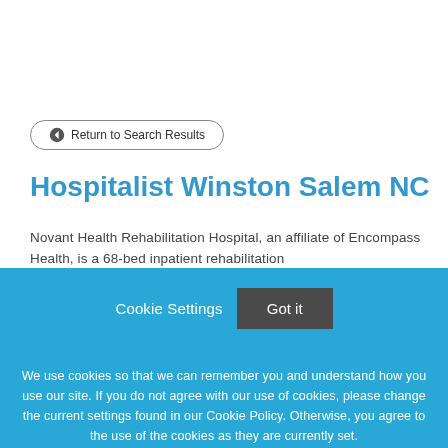← Return to Search Results
Hospitalist Winston Salem NC
Novant Health Rehabilitation Hospital, an affiliate of Encompass Health, is a 68-bed inpatient rehabilitation
Cookie Settings  Got it
We use cookies so that we can remember you and understand how you use our site. If you do not agree with our use of cookies, please change the current settings found in our Cookie Policy. Otherwise, you agree to the use of the cookies as they are currently set.